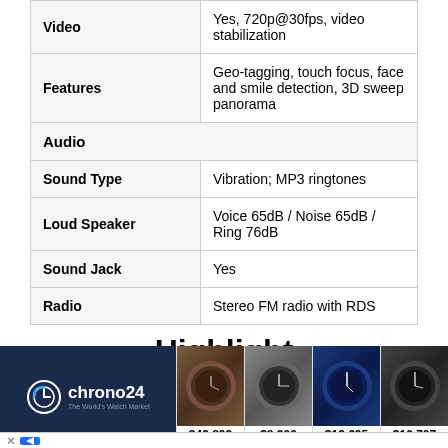| Feature | Value |
| --- | --- |
| Video | Yes, 720p@30fps, video stabilization |
| Features | Geo-tagging, touch focus, face and smile detection, 3D sweep panorama |
| Audio |  |
| Sound Type | Vibration; MP3 ringtones |
| Loud Speaker | Voice 65dB / Noise 65dB / Ring 76dB |
| Sound Jack | Yes |
| Radio | Stereo FM radio with RDS |
Highlight
[Figure (photo): Advertisement banner for Chrono24 watch marketplace showing logo and four luxury watches priced at $49,899, $8,200, $19,695, and $10,707]